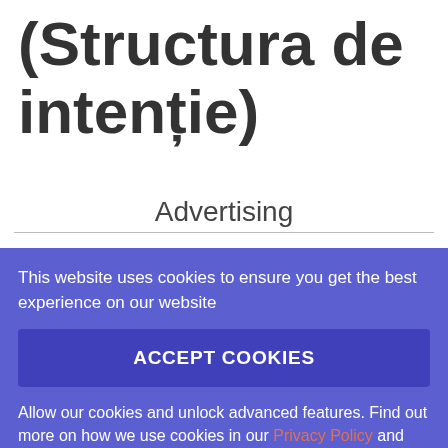(Structura de intenție)
Advertising
This website uses cookies to ensure you get the best experience on our website
ACCEPT COOKIES
Allow our cookies and unlock advanced features. Find out more on how we use cookies in our Privacy Policy and Cookies Policy .